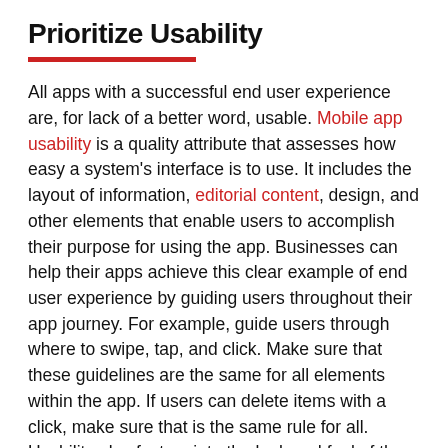Prioritize Usability
All apps with a successful end user experience are, for lack of a better word, usable. Mobile app usability is a quality attribute that assesses how easy a system's interface is to use. It includes the layout of information, editorial content, design, and other elements that enable users to accomplish their purpose for using the app. Businesses can help their apps achieve this clear example of end user experience by guiding users throughout their app journey. For example, guide users through where to swipe, tap, and click. Make sure that these guidelines are the same for all elements within the app. If users can delete items with a click, make sure that is the same rule for all. Usability also factors into the look and feel of the mobile app. Make sure that all of the text is well-spaced and that all of the